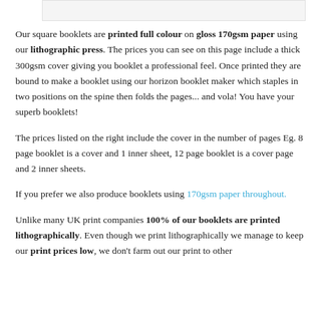[Figure (other): Top decorative bar / image placeholder strip]
Our square booklets are printed full colour on gloss 170gsm paper using our lithographic press. The prices you can see on this page include a thick 300gsm cover giving you booklet a professional feel. Once printed they are bound to make a booklet using our horizon booklet maker which staples in two positions on the spine then folds the pages... and vola! You have your superb booklets!
The prices listed on the right include the cover in the number of pages Eg. 8 page booklet is a cover and 1 inner sheet, 12 page booklet is a cover page and 2 inner sheets.
If you prefer we also produce booklets using 170gsm paper throughout.
Unlike many UK print companies 100% of our booklets are printed lithographically. Even though we print lithographically we manage to keep our print prices low, we don't farm out our print to other